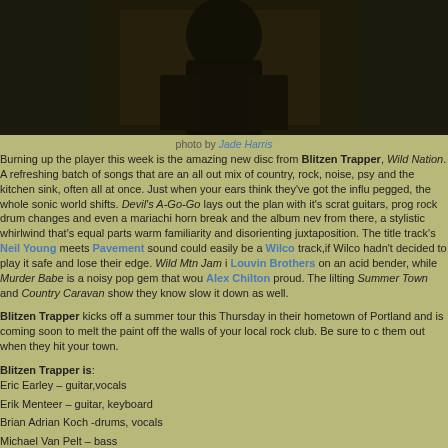[Figure (photo): Dark photo of a musician, cropped showing upper body, dark background]
photo by Jade Harris
Burning up the player this week is the amazing new disc from Blitzen Trapper, Wild Nation. A refreshing batch of songs that are an all out mix of country, rock, noise, psy and the kitchen sink, often all at once. Just when your ears think they've got the influ pegged, the whole sonic world shifts. Devil's A-Go-Go lays out the plan with it's scrat guitars, prog rock drum changes and even a mariachi horn break and the album nev from there, a stylistic whirlwind that's equal parts warm familiarity and disorienting juxtaposition. The title track's Neil Young meets Pavement sound could easily be a Wilco track,if Wilco hadn't decided to play it safe and lose their edge. Wild Mtn Jam i Louvin Brothers on an acid bender, while Murder Babe is a noisy pop gem that wou Alex Chilton proud. The lilting Summer Town and Country Caravan show they know slow it down as well.
Blitzen Trapper kicks off a summer tour this Thursday in their hometown of Portland and is coming soon to melt the paint off the walls of your local rock club. Be sure to c them out when they hit your town.
Blitzen Trapper is:
Eric Earley – guitar,vocals
Erik Menteer – guitar, keyboard
Brian Adrian Koch -drums, vocals
Michael Van Pelt – bass